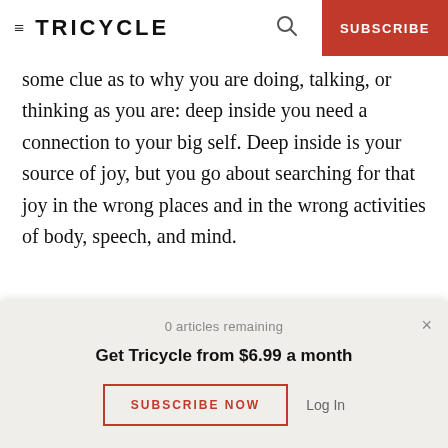≡ TRICYCLE | 🔍 | SUBSCRIBE
some clue as to why you are doing, talking, or thinking as you are: deep inside you need a connection to your big self. Deep inside is your source of joy, but you go about searching for that joy in the wrong places and in the wrong activities of body, speech, and mind.
Join the Book Club discussion here.
0 articles remaining
Get Tricycle from $6.99 a month
SUBSCRIBE NOW
Log In